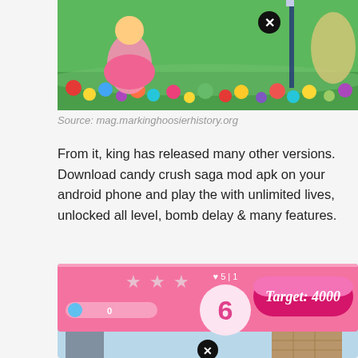[Figure (screenshot): Candy Crush Saga game screenshot showing colorful candies and a character, with a close button (X) overlay]
Source: mag.markinghoosierhistory.org
From it, king has released many other versions. Download candy crush saga mod apk on your android phone and play the with unlimited lives, unlocked all level, bomb delay & many features.
[Figure (screenshot): Candy Crush Saga game UI showing stars, progress bar, move counter showing 6, Target: 4000 button, and a cityscape background with clock tower and brick tower. Close button at bottom.]